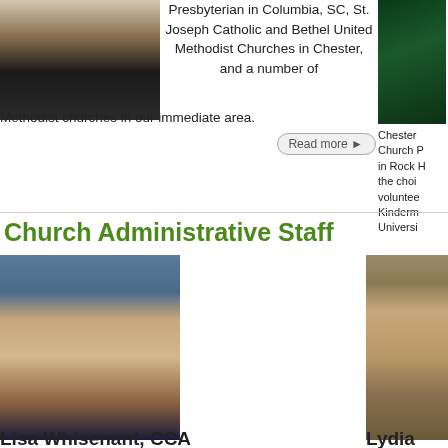[Figure (photo): Photo of a person in a tuxedo with bow tie]
Presbyterian in Columbia, SC, St. Joseph Catholic and Bethel United Methodist Churches in Chester, and a number of Methodist churches in our immediate area.
[Figure (photo): Partial photo with dark green background]
Chester Church P... in Rock H... the choi... voluntee... Kinderm... Universi...
Church Administrative Staff
[Figure (photo): Photo of Lisa Whisenant, CCA - blonde woman smiling]
[Figure (photo): Partial photo of Lydia - woman with striped clothing]
Lisa Whisenant, CCA
Lydia